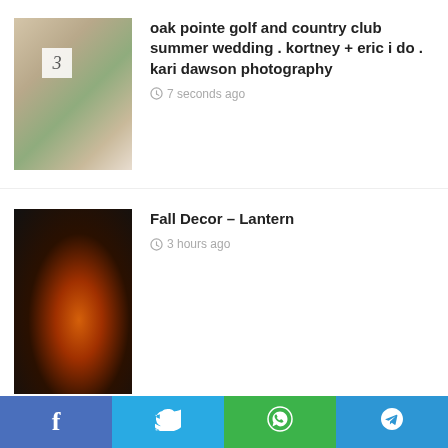[Figure (photo): Wedding table centerpiece with flowers, table number 3]
oak pointe golf and country club summer wedding . kortney + eric i do . kari dawson photography
7 seconds ago
[Figure (photo): Dark image of a lantern with fire/light visible inside]
Fall Decor – Lantern
3 hours ago
Facebook  Twitter  WhatsApp  Telegram